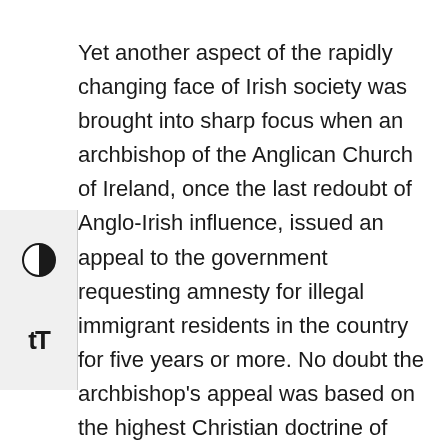Yet another aspect of the rapidly changing face of Irish society was brought into sharp focus when an archbishop of the Anglican Church of Ireland, once the last redoubt of Anglo-Irish influence, issued an appeal to the government requesting amnesty for illegal immigrant residents in the country for five years or more. No doubt the archbishop's appeal was based on the highest Christian doctrine of sanctuary. It did not miss the attention of many, however, that one of the largest concentrations of illegal immigrants are from Nigeria, a former British colony. Nigerians now make up an increasing